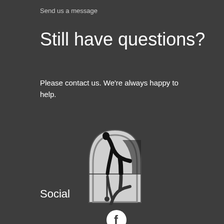Send us a message
Still have questions?
Please contact us. We're always happy to help.
[Figure (illustration): Gothic arch-shaped illustration showing a person bending down, rendered in black and white with a reflective mirror effect]
Social
[Figure (logo): Facebook logo icon — white lowercase f on a white circle with dark background]